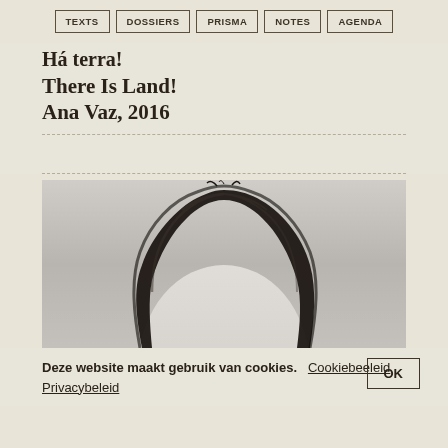TEXTS | DOSSIERS | PRISMA | NOTES | AGENDA
There Is Land!
Ana Vaz, 2016
[Figure (photo): Black and white portrait photograph showing the top of a person's head with dark curly/wavy hair, from the top of the head to just below the eyes, cropped closely.]
Deze website maakt gebruik van cookies. Cookiebeleid Privacybeleid